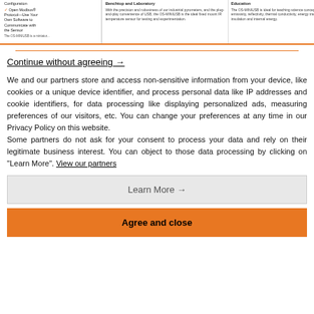[Figure (screenshot): Top banner showing product columns: Configuration/Open Modbus Protocol, Benchtop and Laboratory, and Education descriptions for OS-MINIUSB sensor]
Continue without agreeing →
We and our partners store and access non-sensitive information from your device, like cookies or a unique device identifier, and process personal data like IP addresses and cookie identifiers, for data processing like displaying personalized ads, measuring preferences of our visitors, etc. You can change your preferences at any time in our Privacy Policy on this website.
Some partners do not ask for your consent to process your data and rely on their legitimate business interest. You can object to those data processing by clicking on "Learn More". View our partners
Learn More →
Agree and close